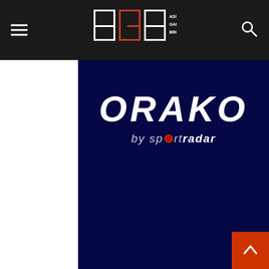Asia Gaming Brief (AGB) navigation header
[Figure (logo): ORAKO by Sportradar logo on dark navy blue background. Large white bold italic ORAKO text above smaller white italic 'by sportradar' text with a red circle replacing the 'o' in 'sport'.]